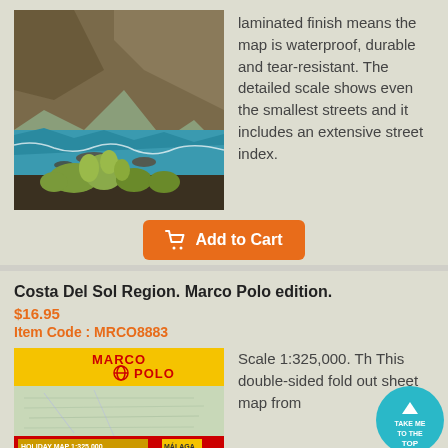[Figure (photo): Coastal rocky cliffs scene with turquoise water and cactus plants in the foreground]
laminated finish means the map is waterproof, durable and tear-resistant. The detailed scale shows even the smallest streets and it includes an extensive street index.
[Figure (other): Orange Add to Cart button with shopping cart icon]
Costa Del Sol Region. Marco Polo edition.
$16.95
Item Code : MRCO8883
[Figure (photo): Marco Polo Holiday Map 1:325,000 Costa Del Sol cover showing map of the region near Malaga]
Scale 1:325,000. Th This double-sided fold out sheet map from